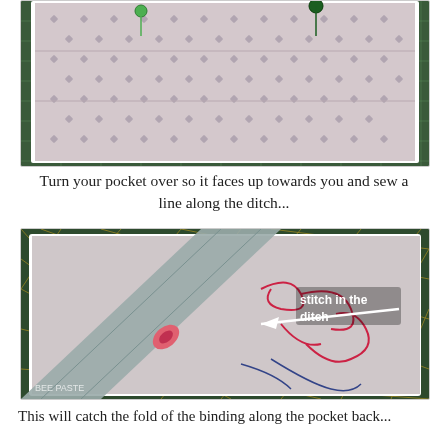[Figure (photo): Top portion of a photo showing fabric with a small floral print pattern pinned with green pins on a cutting mat]
Turn your pocket over so it faces up towards you and sew a line along the ditch...
[Figure (photo): Photo showing a quilted pocket with embroidery on a cutting mat, with a diagonal grey binding strip and a white arrow pointing to the stitch in the ditch area, labeled 'stitch in the ditch']
This will catch the fold of the binding along the pocket back...